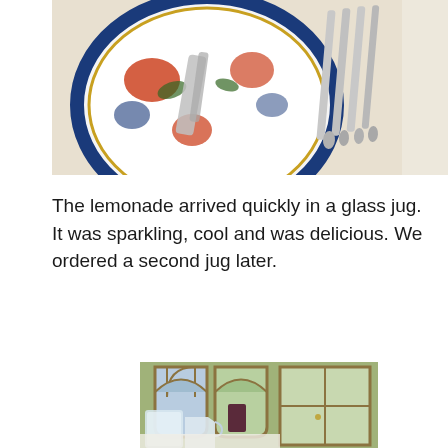[Figure (photo): Top-down view of an ornate decorative plate with blue, red, and green floral/Asian-inspired pattern, alongside silver cutlery (spoons/forks) laid on a white cloth background.]
The lemonade arrived quickly in a glass jug. It was sparkling, cool and was delicious. We ordered a second jug later.
[Figure (photo): Interior dining room scene with arched gothic-style windows letting in natural light, a glass jug of water/lemonade on a white tablecloth table, with chairs and garden visible through the windows.]